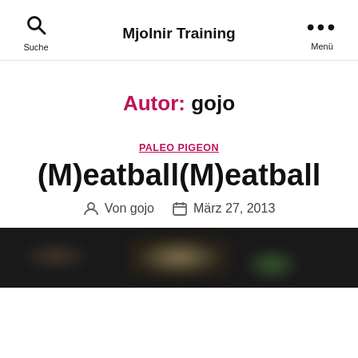Mjolnir Training | Suche | Menü
Autor: gojo
PALEO PIGEON
(M)eatball(M)eatball
Von gojo  März 27, 2013
[Figure (photo): Dark background food photo, blurred, showing meatballs with garnish on a dark plate]